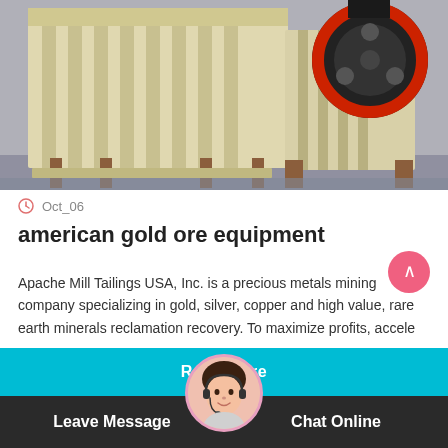[Figure (photo): Industrial jaw crusher machine, cream/beige colored with red flywheel, photographed in a workshop setting]
Oct_06
american gold ore equipment
Apache Mill Tailings USA, Inc. is a precious metals mining company specializing in gold, silver, copper and high value, rare earth minerals reclamation recovery. To maximize profits, accele
Read More
Leave Message
Chat Online